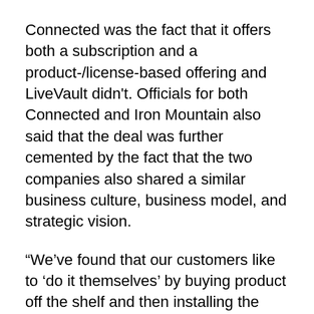Connected was the fact that it offers both a subscription and a product-/license-based offering and LiveVault didn't. Officials for both Connected and Iron Mountain also said that the deal was further cemented by the fact that the two companies also shared a similar business culture, business model, and strategic vision.
“We’ve found that our customers like to ‘do it themselves’ by buying product off the shelf and then installing the components themselves,” says Delle Donne.
LiveVault dropped its software offering about three years ago in favor of a pure subscription-based approach; Connected recently added a stand-alone product offering to its services